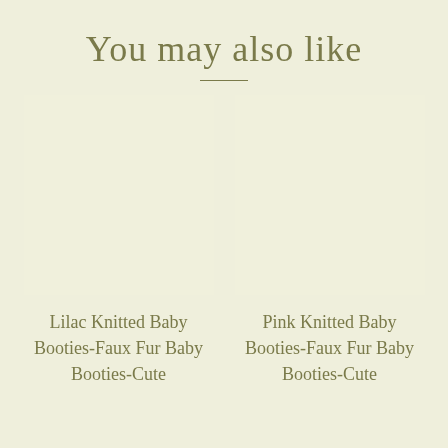You may also like
[Figure (photo): Placeholder image box for Lilac Knitted Baby Booties product]
Lilac Knitted Baby Booties-Faux Fur Baby Booties-Cute
[Figure (photo): Placeholder image box for Pink Knitted Baby Booties product]
Pink Knitted Baby Booties-Faux Fur Baby Booties-Cute